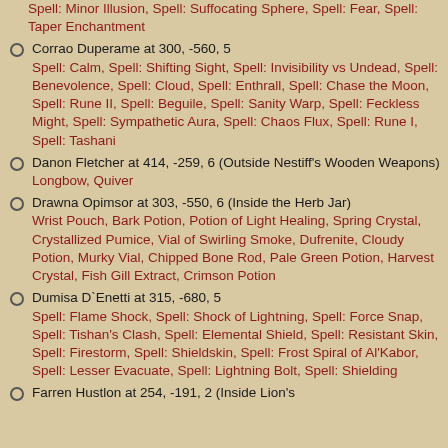Spell: Minor Illusion, Spell: Suffocating Sphere, Spell: Fear, Spell: Taper Enchantment
Corrao Duperame at 300, -560, 5 — Spell: Calm, Spell: Shifting Sight, Spell: Invisibility vs Undead, Spell: Benevolence, Spell: Cloud, Spell: Enthrall, Spell: Chase the Moon, Spell: Rune II, Spell: Beguile, Spell: Sanity Warp, Spell: Feckless Might, Spell: Sympathetic Aura, Spell: Chaos Flux, Spell: Rune I, Spell: Tashani
Danon Fletcher at 414, -259, 6 (Outside Nestiff's Wooden Weapons) — Longbow, Quiver
Drawna Opimsor at 303, -550, 6 (Inside the Herb Jar) — Wrist Pouch, Bark Potion, Potion of Light Healing, Spring Crystal, Crystallized Pumice, Vial of Swirling Smoke, Dufrenite, Cloudy Potion, Murky Vial, Chipped Bone Rod, Pale Green Potion, Harvest Crystal, Fish Gill Extract, Crimson Potion
Dumisa D`Enetti at 315, -680, 5 — Spell: Flame Shock, Spell: Shock of Lightning, Spell: Force Snap, Spell: Tishan's Clash, Spell: Elemental Shield, Spell: Resistant Skin, Spell: Firestorm, Spell: Shieldskin, Spell: Frost Spiral of Al'Kabor, Spell: Lesser Evacuate, Spell: Lightning Bolt, Spell: Shielding
Farren Hustlon at 254, -191, 2 (Inside Lion's...